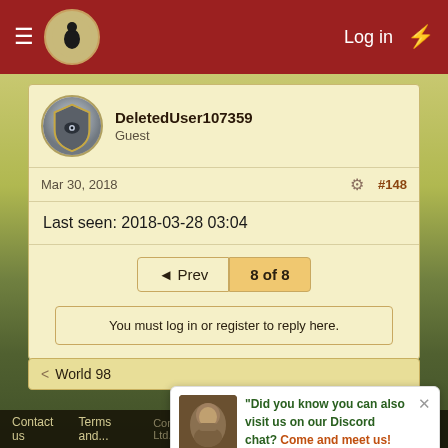≡  [logo]  Log in  ⚡
DeletedUser107359
Guest
Mar 30, 2018  #148
Last seen: 2018-03-28 03:04
◄ Prev  8 of 8
You must log in or register to reply here.
Share:
< World 98
Contact us  Terms and ...  Privacy...  Help...
Community platform by XenForo  © 2010-2022 XenForo Ltd.
"Did you know you can also visit us on our Discord chat? Come and meet us!